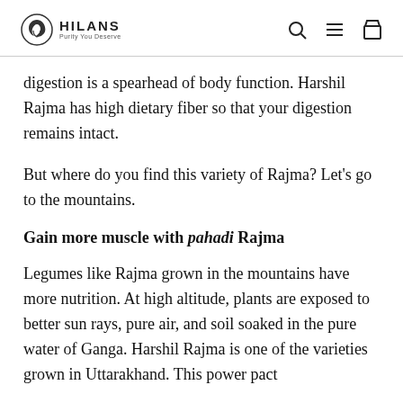HILANS Purity You Deserve
digestion is a spearhead of body function. Harshil Rajma has high dietary fiber so that your digestion remains intact.
But where do you find this variety of Rajma? Let's go to the mountains.
Gain more muscle with pahadi Rajma
Legumes like Rajma grown in the mountains have more nutrition. At high altitude, plants are exposed to better sun rays, pure air, and soil soaked in the pure water of Ganga. Harshil Rajma is one of the varieties grown in Uttarakhand. This power pact